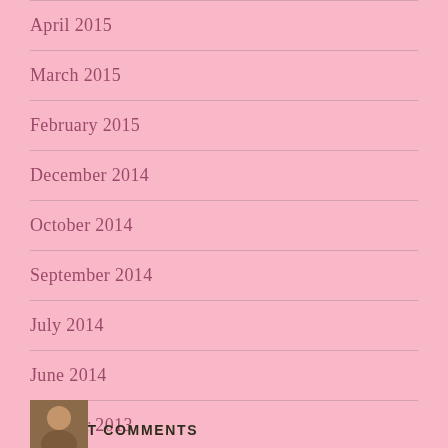April 2015
March 2015
February 2015
December 2014
October 2014
September 2014
July 2014
June 2014
October 2013
RECENT COMMENTS
[Figure (photo): Small avatar/profile photo thumbnail at bottom left]